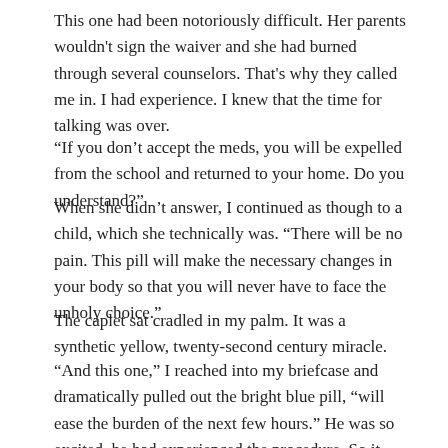This one had been notoriously difficult. Her parents wouldn't sign the waiver and she had burned through several counselors. That's why they called me in. I had experience. I knew that the time for talking was over.
“If you don’t accept the meds, you will be expelled from the school and returned to your home. Do you understand?”
When she didn’t answer, I continued as though to a child, which she technically was. “There will be no pain. This pill will make the necessary changes in your body so that you will never have to face the unholy choice.”
The caplet sat cradled in my palm. It was a synthetic yellow, twenty-second century miracle.
“And this one,” I reached into my briefcase and dramatically pulled out the bright blue pill, “will ease the burden of the next few hours.” He was so excited, he had experienced the procedure. So it was